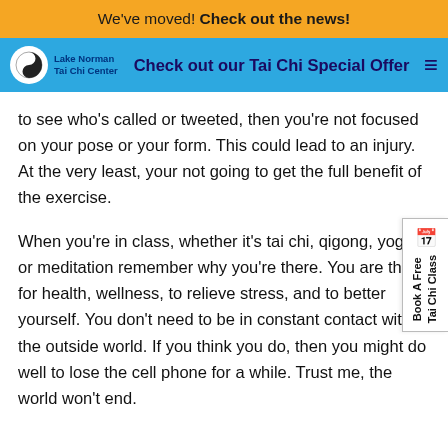We've moved! Check out the news!
Check out our Tai Chi Special Offer
to see who's called or tweeted, then you're not focused on your pose or your form. This could lead to an injury. At the very least, your not going to get the full benefit of the exercise.
When you're in class, whether it's tai chi, qigong, yoga or meditation remember why you're there. You are there for health, wellness, to relieve stress, and to better yourself. You don't need to be in constant contact with the outside world. If you think you do, then you might do well to lose the cell phone for a while. Trust me, the world won't end.